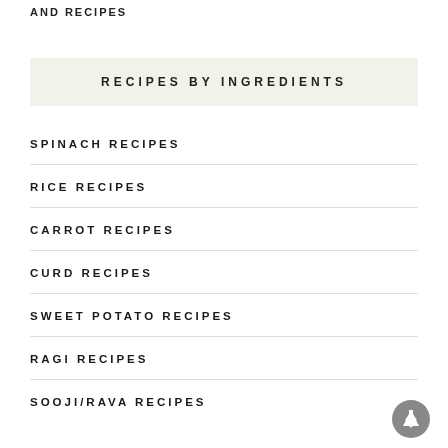AND RECIPES
RECIPES BY INGREDIENTS
SPINACH RECIPES
RICE RECIPES
CARROT RECIPES
CURD RECIPES
SWEET POTATO RECIPES
RAGI RECIPES
SOOJI/RAVA RECIPES